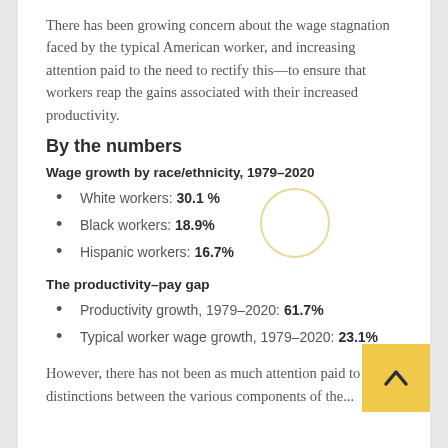There has been growing concern about the wage stagnation faced by the typical American worker, and increasing attention paid to the need to rectify this—to ensure that workers reap the gains associated with their increased productivity.
By the numbers
Wage growth by race/ethnicity, 1979–2020
White workers: 30.1 %
Black workers: 18.9%
Hispanic workers: 16.7%
The productivity–pay gap
Productivity growth, 1979–2020: 61.7%
Typical worker wage growth, 1979–2020: 23.1%
However, there has not been as much attention paid to the distinctions between the various components of the...